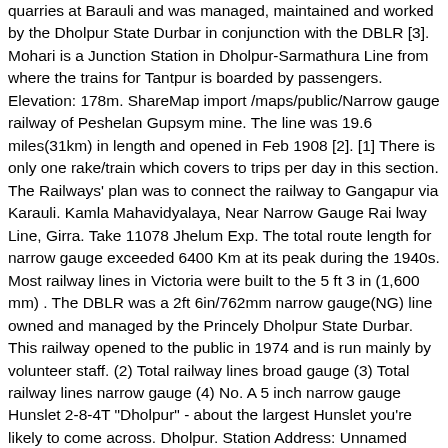quarries at Barauli and was managed, maintained and worked by the Dholpur State Durbar in conjunction with the DBLR [3]. Mohari is a Junction Station in Dholpur-Sarmathura Line from where the trains for Tantpur is boarded by passengers. Elevation: 178m. ShareMap import /maps/public/Narrow gauge railway of Peshelan Gupsym mine. The line was 19.6 miles(31km) in length and opened in Feb 1908 [2]. [1] There is only one rake/train which covers to trips per day in this section. The Railways' plan was to connect the railway to Gangapur via Karauli. Kamla Mahavidyalaya, Near Narrow Gauge Rai lway Line, Girra. Take 11078 Jhelum Exp. The total route length for narrow gauge exceeded 6400 Km at its peak during the 1940s. Most railway lines in Victoria were built to the 5 ft 3 in (1,600 mm) . The DBLR was a 2ft 6in/762mm narrow gauge(NG) line owned and managed by the Princely Dholpur State Durbar. This railway opened to the public in 1974 and is run mainly by volunteer staff. (2) Total railway lines broad gauge (3) Total railway lines narrow gauge (4) No. A 5 inch narrow gauge Hunslet 2-8-4T "Dholpur" - about the largest Hunslet you're likely to come across. Dholpur. Station Address: Unnamed Road, Dhaulpur Railway Station, Dholpur Rajasthan. The mountains of the north held large quantities of slate and their narrow valleys and stee… The DBLR was a 2ft 6in/762mm narrow gauge line owned and managed by the Princely Dholpur